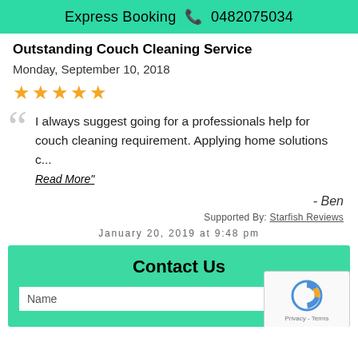Express Booking 📞 0482075034
Outstanding Couch Cleaning Service
Monday, September 10, 2018
★★★★★
"I always suggest going for a professionals help for couch cleaning requirement. Applying home solutions c... Read More"
- Ben
Supported By: Starfish Reviews
January 20, 2019 at 9:48 pm
Contact Us
Name